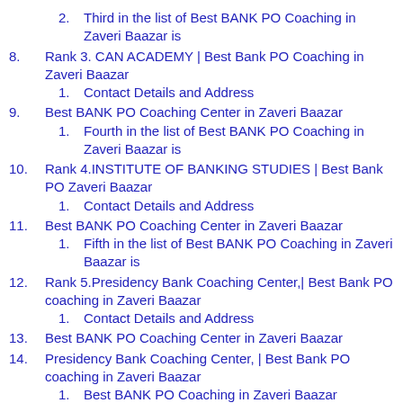2.  Third in the list of Best BANK PO Coaching in Zaveri Baazar is
8.  Rank 3. CAN ACADEMY | Best Bank PO Coaching in Zaveri Baazar
1.  Contact Details and Address
9.  Best BANK PO Coaching Center in Zaveri Baazar
1.  Fourth in the list of Best BANK PO Coaching in Zaveri Baazar is
10.  Rank 4.INSTITUTE OF BANKING STUDIES | Best Bank PO Zaveri Baazar
1.  Contact Details and Address
11.  Best BANK PO Coaching Center in Zaveri Baazar
1.  Fifth in the list of Best BANK PO Coaching in Zaveri Baazar is
12.  Rank 5.Presidency Bank Coaching Center,| Best Bank PO coaching in Zaveri Baazar
1.  Contact Details and Address
13.  Best BANK PO Coaching Center in Zaveri Baazar
14.  Presidency Bank Coaching Center, | Best Bank PO coaching in Zaveri Baazar
1.  Best BANK PO Coaching in Zaveri Baazar